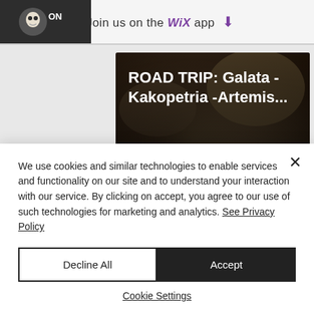Join us on the WiX app ⬇
[Figure (screenshot): Road trip blog post card image with rocky cave background. Title: 'ROAD TRIP: Galata - Kakopetria -Artemis...' with 356 views, 1 comment, 14 likes.]
[Figure (photo): Partial second blog card with dark brown rocky/earthy background, partially visible at bottom.]
We use cookies and similar technologies to enable services and functionality on our site and to understand your interaction with our service. By clicking on accept, you agree to our use of such technologies for marketing and analytics. See Privacy Policy
Decline All
Accept
Cookie Settings